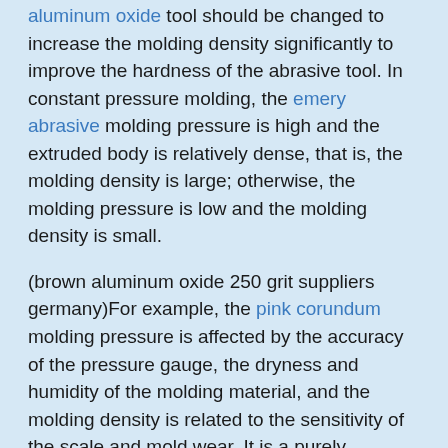aluminum oxide tool should be changed to increase the molding density significantly to improve the hardness of the abrasive tool. In constant pressure molding, the emery abrasive molding pressure is high and the extruded body is relatively dense, that is, the molding density is large; otherwise, the molding pressure is low and the molding density is small.
(brown aluminum oxide 250 grit suppliers germany)For example, the pink corundum molding pressure is affected by the accuracy of the pressure gauge, the dryness and humidity of the molding material, and the molding density is related to the sensitivity of the scale and mold wear. It is a purely theoretical expression. It removes the flammable temporary binder (such as dextrin), pore-forming agent and water from the weight of the black silicon carbide tool to obtain the density (inorganic matter).
Generally speaking, the molding density and molding